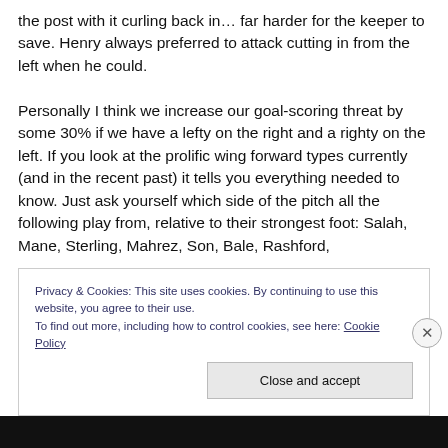the post with it curling back in… far harder for the keeper to save. Henry always preferred to attack cutting in from the left when he could.

Personally I think we increase our goal-scoring threat by some 30% if we have a lefty on the right and a righty on the left. If you look at the prolific wing forward types currently (and in the recent past) it tells you everything needed to know. Just ask yourself which side of the pitch all the following play from, relative to their strongest foot: Salah, Mane, Sterling, Mahrez, Son, Bale, Rashford,
Privacy & Cookies: This site uses cookies. By continuing to use this website, you agree to their use.
To find out more, including how to control cookies, see here: Cookie Policy